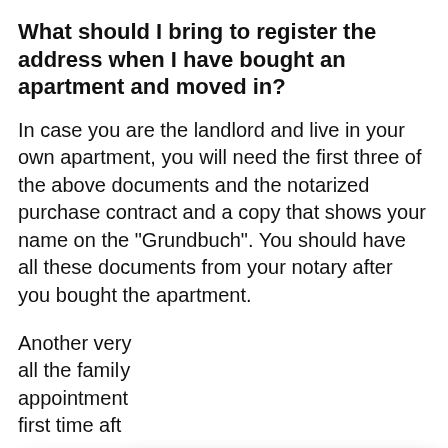What should I bring to register the address when I have bought an apartment and moved in?
In case you are the landlord and live in your own apartment, you will need the first three of the above documents and the notarized purchase contract and a copy that shows your name on the “Grundbuch”. You should have all these documents from your notary after you bought the apartment.
Another very [partially obscured] all the family [partially obscured] appointment [partially obscured] first time aft[er]
Just rememb[er] possibly can [partially obscured] not want to r[epeat the] process again. Also, make sure you register on
Cookie Notice
We use cookies on our website to give you the most relevant experience by remembering your preferences and repeat visits. By clicking “Accept”, you consent to the use of ALL the cookies.
Cookie settings   ACCEPT